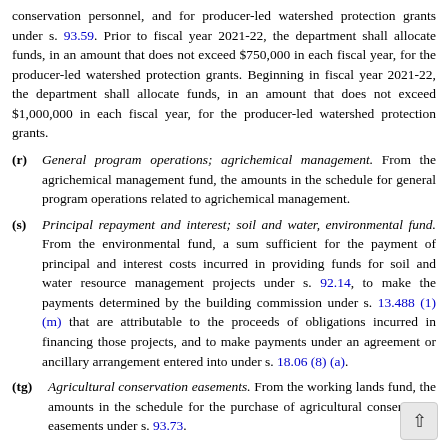conservation personnel, and for producer-led watershed protection grants under s. 93.59. Prior to fiscal year 2021-22, the department shall allocate funds, in an amount that does not exceed $750,000 in each fiscal year, for the producer-led watershed protection grants. Beginning in fiscal year 2021-22, the department shall allocate funds, in an amount that does not exceed $1,000,000 in each fiscal year, for the producer-led watershed protection grants.
(r) General program operations; agrichemical management. From the agrichemical management fund, the amounts in the schedule for general program operations related to agrichemical management.
(s) Principal repayment and interest; soil and water, environmental fund. From the environmental fund, a sum sufficient for the payment of principal and interest costs incurred in providing funds for soil and water resource management projects under s. 92.14, to make the payments determined by the building commission under s. 13.488 (1) (m) that are attributable to the proceeds of obligations incurred in financing those projects, and to make payments under an agreement or ancillary arrangement entered into under s. 18.06 (8) (a).
(tg) Agricultural conservation easements. From the working lands fund, the amounts in the schedule for the purchase of agricultural conservation easements under s. 93.73.